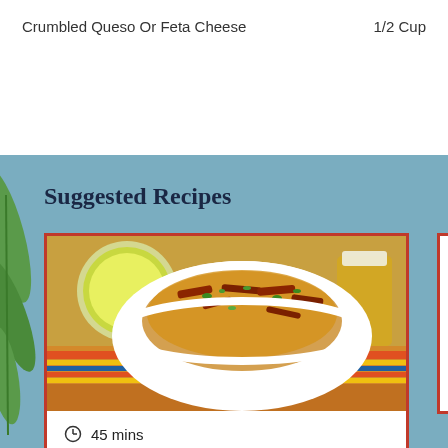Crumbled Queso Or Feta Cheese    1/2 Cup
Suggested Recipes
[Figure (photo): A white bowl filled with tater tots topped with melted cheese, crumbled bacon, and chopped green onions, on a colorful striped tablecloth with a lime and beer in the background.]
45 mins
Beginner
6 Servings